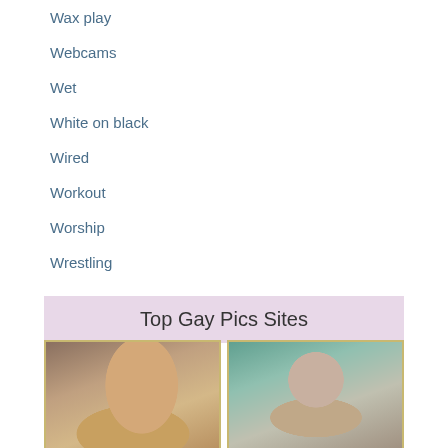Wax play
Webcams
Wet
White on black
Wired
Workout
Worship
Wrestling
Yoga
Top Gay Pics Sites
[Figure (photo): Two photographs side by side showing adult content]